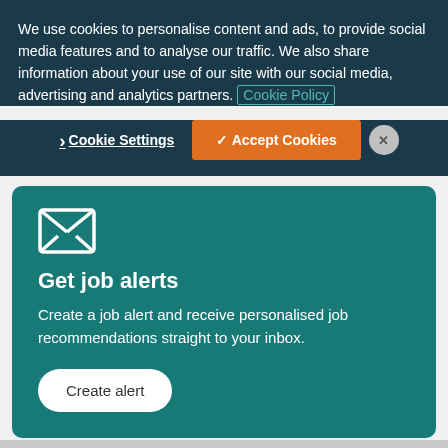We use cookies to personalise content and ads, to provide social media features and to analyse our traffic. We also share information about your use of our site with our social media, advertising and analytics partners. Cookie Policy
Cookie Settings | ✓ Accept Cookies | ×
[Figure (illustration): Envelope icon (mail/message symbol) in white on teal background]
Get job alerts
Create a job alert and receive personalised job recommendations straight to your inbox.
Create alert